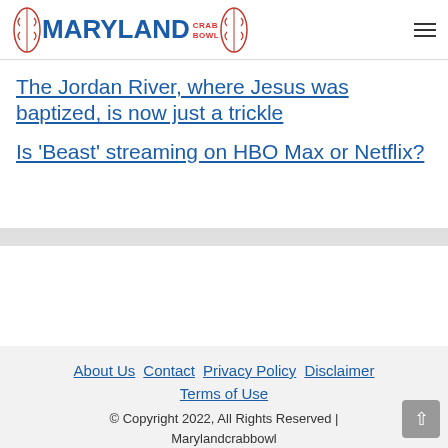Maryland Crab Bowl
The Jordan River, where Jesus was baptized, is now just a trickle
Is 'Beast' streaming on HBO Max or Netflix?
About Us | Contact | Privacy Policy | Disclaimer | Terms of Use | © Copyright 2022, All Rights Reserved | Marylandcrabbowl